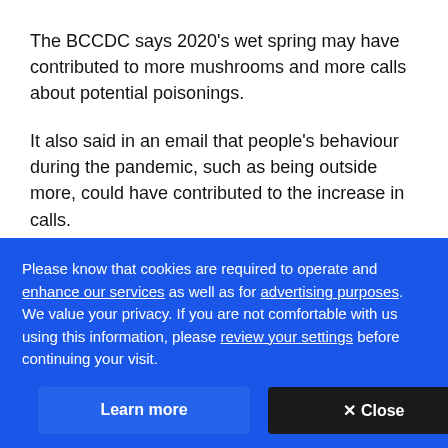The BCCDC says 2020's wet spring may have contributed to more mushrooms and more calls about potential poisonings.
It also said in an email that people's behaviour during the pandemic, such as being outside more, could have contributed to the increase in calls.
Calls up, death cap sickness low
Please know that cookies are required to operate and enhance our services as well as for advertising purposes. We value your privacy. If you are not comfortable with us using this information, please review your settings before continuing your visit.